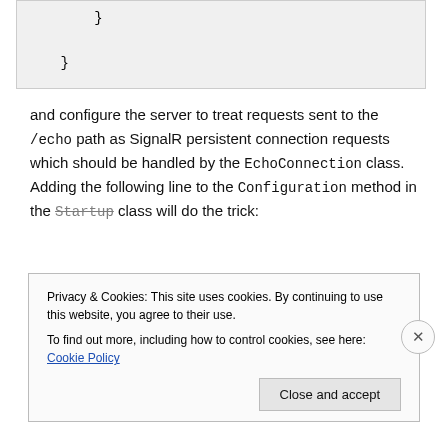}
}
and configure the server to treat requests sent to the /echo path as SignalR persistent connection requests which should be handled by the EchoConnection class. Adding the following line to the Configuration method in the Startup class will do the trick:
Privacy & Cookies: This site uses cookies. By continuing to use this website, you agree to their use.
To find out more, including how to control cookies, see here: Cookie Policy
Close and accept